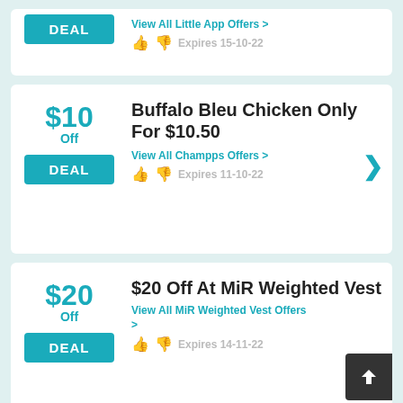DEAL
View All Little App Offers >
Expires 15-10-22
$10 Off
DEAL
Buffalo Bleu Chicken Only For $10.50
View All Champps Offers >
Expires 11-10-22
$20 Off
DEAL
$20 Off At MiR Weighted Vest
View All MiR Weighted Vest Offers >
Expires 14-11-22